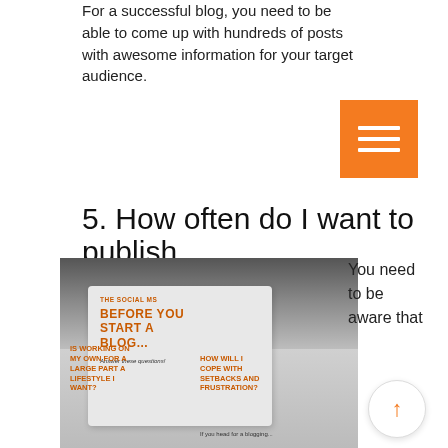For a successful blog, you need to be able to come up with hundreds of posts with awesome information for your target audience.
[Figure (illustration): Orange hamburger menu button icon with three horizontal white lines on orange background]
5. How often do I want to publish
[Figure (photo): Blog infographic image from The Social Ms titled 'Before You Start A Blog...' with keyboard background and text sections including 'IS WORKING ON MY OWN FOR A LARGE PART A LIFESTYLE I WANT?' and 'HOW WILL I COPE WITH SETBACKS AND FRUSTRATION?']
You need to be aware that
[Figure (other): Circular up arrow button in orange on white circle]